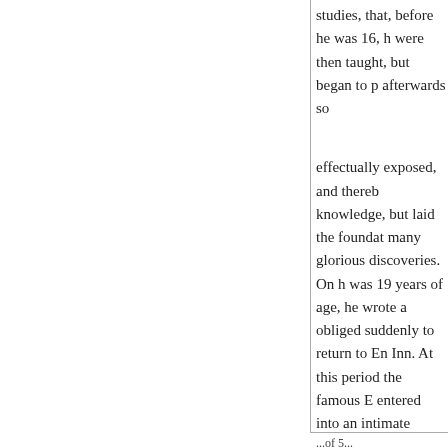studies, that, before he was 16, h were then taught, but began to p afterwards so
effectually exposed, and thereb knowledge, but laid the foundat many glorious discoveries. On h was 19 years of age, he wrote a obliged suddenly to return to En Inn. At this period the famous E entered into an intimate friends the office of queen's solicitor; a him a present of land to the val notwithstanding the number an prepossession of her majesty in particular, his enemies represen notions, and therefore more lik difficulty that lord treasurer Bu about 16001. a year, which pla preferment all this reign; thoug offices, viz. the
...of 5...